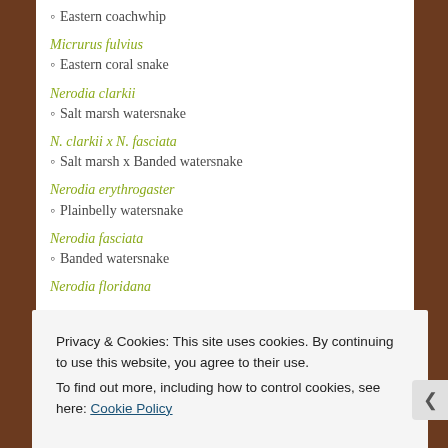Eastern coachwhip
Micrurus fulvius
Eastern coral snake
Nerodia clarkii
Salt marsh watersnake
N. clarkii x N. fasciata
Salt marsh x Banded watersnake
Nerodia erythrogaster
Plainbelly watersnake
Nerodia fasciata
Banded watersnake
Nerodia floridana
Privacy & Cookies: This site uses cookies. By continuing to use this website, you agree to their use.
To find out more, including how to control cookies, see here: Cookie Policy